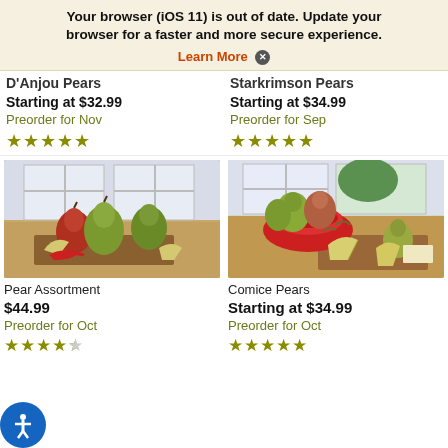Your browser (iOS 11) is out of date. Update your browser for a faster and more secure experience. Learn More ✕
D'Anjou Pears
Starting at $32.99
Preorder for Nov
★★★★★
Starkrimson Pears
Starting at $34.99
Preorder for Sep
★★★★★
[Figure (photo): Pear Assortment - various green and red pears with sliced pear pieces on a wooden board]
[Figure (photo): Comice Pears - green and red pears in a red bowl, with sliced pears on a wooden board]
Pear Assortment
$44.99
Preorder for Oct
★★★★½
Comice Pears
Starting at $34.99
Preorder for Oct
★★★★★